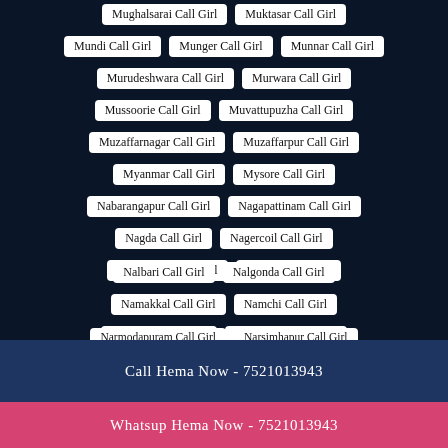Mughalsarai Call Girl
Muktasar Call Girl
Mundi Call Girl
Munger Call Girl
Munnar Call Girl
Murudeshwara Call Girl
Murwara Call Girl
Mussoorie Call Girl
Muvattupuzha Call Girl
Muzaffarnagar Call Girl
Muzaffarpur Call Girl
Myanmar Call Girl
Mysore Call Girl
Nabarangapur Call Girl
Nagapattinam Call Girl
Nagda Call Girl
Nagercoil Call Girl
Nakhatrana Call Girl
Nalanda Call Girl
Nalbari Call Girl
Nalgonda Call Girl
Namakkal Call Girl
Namchi Call Girl
Nandurbar Call Girl
Narayanpur Call Girl
Narmodapuram Call Girl
Narsimhapur Call Girl
Call Hema Now - 7521013943
Whatsup Hema Now - 7521013943